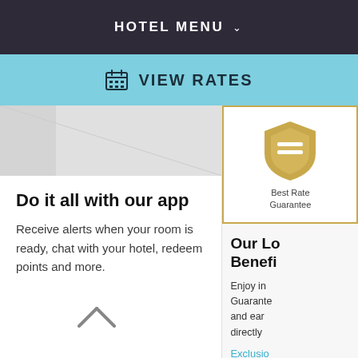HOTEL MENU
VIEW RATES
[Figure (screenshot): Hotel room image placeholder in left column]
Do it all with our app
Receive alerts when your room is ready, chat with your hotel, redeem points and more.
[Figure (logo): Best Rate Guarantee shield badge icon in gold/yellow]
Best Rate Guarantee
Our Lo... Benefi...
Enjoy in... Guarante... and ear... directly ...
Exclusio...